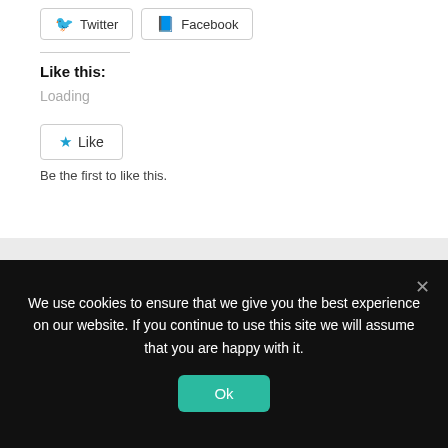[Figure (screenshot): Twitter and Facebook share buttons]
Like this:
Loading
[Figure (screenshot): Like button with star icon]
Be the first to like this.
What do you think?
0 Responses
[Figure (illustration): Row of emoji reaction icons]
We use cookies to ensure that we give you the best experience on our website. If you continue to use this site we will assume that you are happy with it.